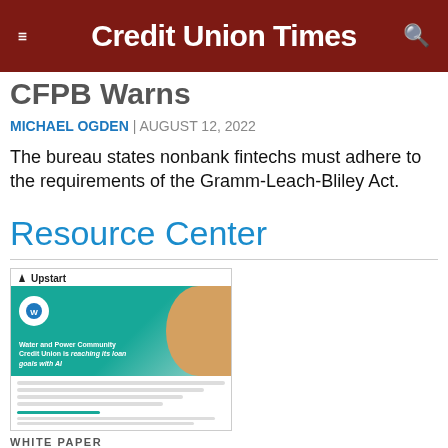Credit Union Times
CFPB Warns
MICHAEL OGDEN | AUGUST 12, 2022
The bureau states nonbank fintechs must adhere to the requirements of the Gramm-Leach-Bliley Act.
Resource Center
[Figure (screenshot): Upstart white paper thumbnail showing Water and Power Community Credit Union reaching its loan goals with AI]
WHITE PAPER